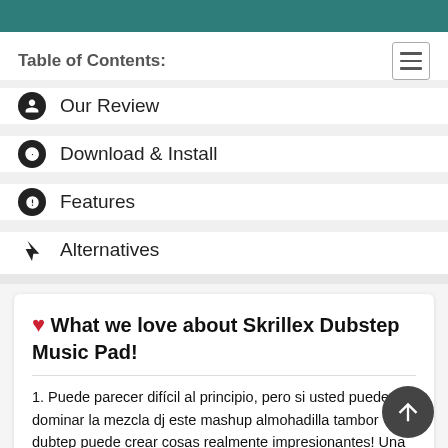Table of Contents:
Our Review
Download & Install
Features
Alternatives
❤ What we love about Skrillex Dubstep Music Pad!
1. Puede parecer difícil al principio, pero si usted puede dominar la mezcla dj este mashup almohadilla tambor dubtep puede crear cosas realmente impresionantes! Una almohadilla real del dubstep del DJ.
2. Esta es una aplicación divertida que te permite crear un impresionante mashup de música dubstep y sentirte como un